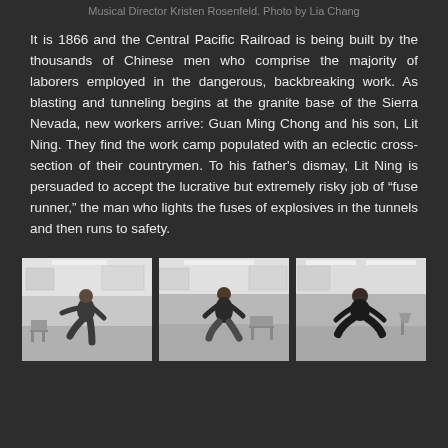Musical Director Kristen Rosenfeld. Photo by Lia Chang
It is 1866 and the Central Pacific Railroad is being built by the thousands of Chinese men who comprise the majority of laborers employed in the dangerous, backbreaking work. As blasting and tunneling begins at the granite base of the Sierra Nevada, new workers arrive: Guan Ming Chong and his son, Lit Ning. They find the work camp populated with an eclectic cross-section of their countrymen. To his father's dismay, Lit Ning is persuaded to accept the lucrative but extremely risky job of “fuse runner,” the man who lights the fuses of explosives in the tunnels and then runs to safety.
[Figure (photo): Three black and white rehearsal photos side by side showing performers dancing/moving in a studio space with white walls and chairs in background.]